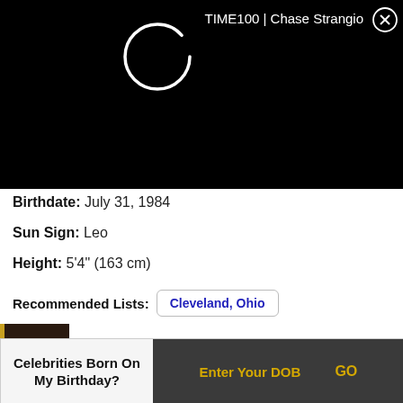[Figure (screenshot): Black banner with loading spinner circle (white outline) and header text 'TIME100 | Chase Strangio' with close X button]
TIME100 | Chase Strangio
Birthdate: July 31, 1984
Sun Sign: Leo
Height: 5'4" (163 cm)
Recommended Lists:
Cleveland, Ohio
Florence, Italy
Glasgow, Scotland
37  Scott Pelley
Celebrities Born On My Birthday?
Enter Your DOB  GO